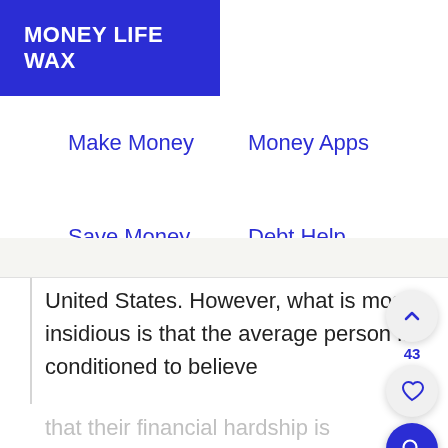MONEY LIFE WAX
Make Money
Money Apps
Save Money
Debt Help
Life Hacks
United States. However, what is most insidious is that the average person is conditioned to believe that their financial hardship is